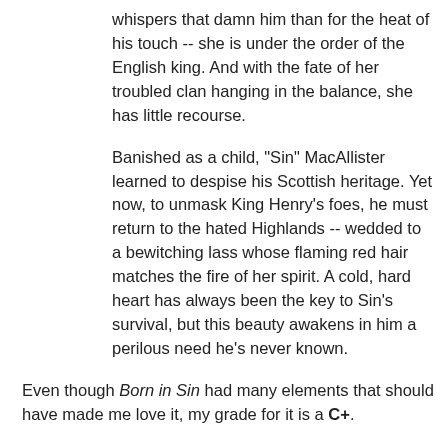whispers that damn him than for the heat of his touch -- she is under the order of the English king. And with the fate of her troubled clan hanging in the balance, she has little recourse.
Banished as a child, "Sin" MacAllister learned to despise his Scottish heritage. Yet now, to unmask King Henry's foes, he must return to the hated Highlands -- wedded to a bewitching lass whose flaming red hair matches the fire of her spirit. A cold, hard heart has always been the key to Sin's survival, but this beauty awakens in him a perilous need he's never known.
Even though Born in Sin had many elements that should have made me love it, my grade for it is a C+.
I should have loved the very lonely Sin, desperate for love as he was, after his horrific childhood. And what a horrific childhood that was! I swear, this author must specialize in torturing her heroes: Sin and her Julian of Thrace, from Fantasy Lover are probably the two most tortured people I've